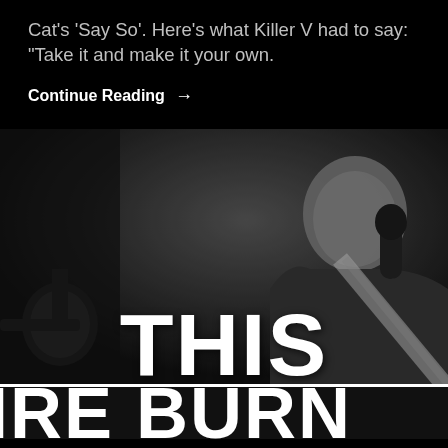Cat's 'Say So'. Here's what Killer V had to say: "Take it and make it your own.
Continue Reading →
[Figure (photo): Black and white photo of a bald man speaking into a microphone in a podcast/studio setting with the large text 'THIS' overlaid, and 'IRE BURN' visible at the bottom in a banner.]